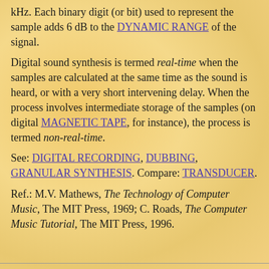kHz. Each binary digit (or bit) used to represent the sample adds 6 dB to the DYNAMIC RANGE of the signal.
Digital sound synthesis is termed real-time when the samples are calculated at the same time as the sound is heard, or with a very short intervening delay. When the process involves intermediate storage of the samples (on digital MAGNETIC TAPE, for instance), the process is termed non-real-time.
See: DIGITAL RECORDING, DUBBING, GRANULAR SYNTHESIS. Compare: TRANSDUCER.
Ref.: M.V. Mathews, The Technology of Computer Music, The MIT Press, 1969; C. Roads, The Computer Music Tutorial, The MIT Press, 1996.